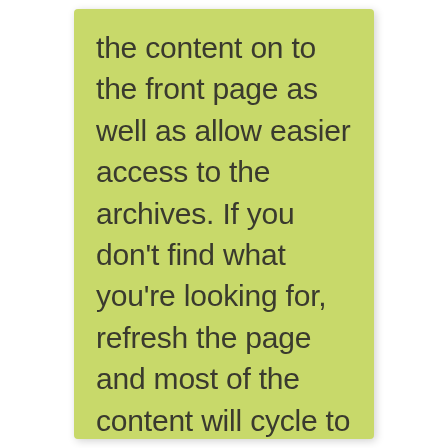the content on to the front page as well as allow easier access to the archives. If you don't find what you're looking for, refresh the page and most of the content will cycle to